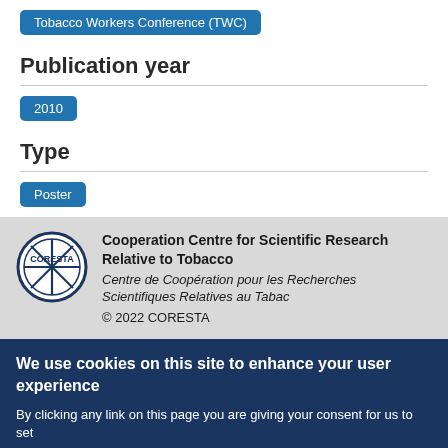Tobacco Workers Conference (TWC)
Publication year
2010
Type
Poster
Cooperation Centre for Scientific Research Relative to Tobacco
Centre de Coopération pour les Recherches Scientifiques Relatives au Tabac
© 2022 CORESTA
We use cookies on this site to enhance your user experience
By clicking any link on this page you are giving your consent for us to set